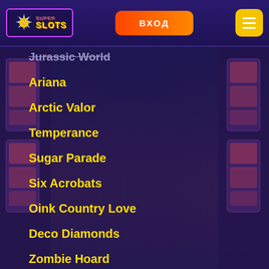[Figure (screenshot): Super Slots casino website header with logo, login button, and hamburger menu]
Jurassic World
Ariana
Arctic Valor
Temperance
Sugar Parade
Six Acrobats
Oink Country Love
Deco Diamonds
Zombie Hoard
Love Island